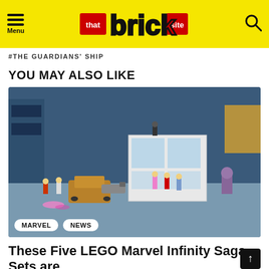Menu | that brick site | [search]
#THE GUARDIANS' SHIP
YOU MAY ALSO LIKE
[Figure (photo): LEGO Marvel Infinity Saga set display showing multiple Marvel superhero minifigures and a building set on a table, with a blurred blue background.]
MARVEL  NEWS
These Five LEGO Marvel Infinity Saga Sets are